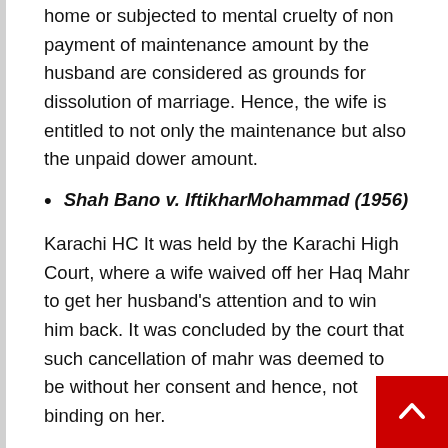home or subjected to mental cruelty of non payment of maintenance amount by the husband are considered as grounds for dissolution of marriage. Hence, the wife is entitled to not only the maintenance but also the unpaid dower amount.
Shah Bano v. IftikharMohammad (1956)
Karachi HC It was held by the Karachi High Court, where a wife waived off her Haq Mahr to get her husband's attention and to win him back. It was concluded by the court that such cancellation of mahr was deemed to be without her consent and hence, not binding on her.
Conclusion
In Islamic Marriages Law, the custom of paying dower is still practiced. In Islamic marriages, the payment of dower is still required. Women have special rights to seek the unpaid dower, and their husbands are legally compelled to pay it, according to the case law.